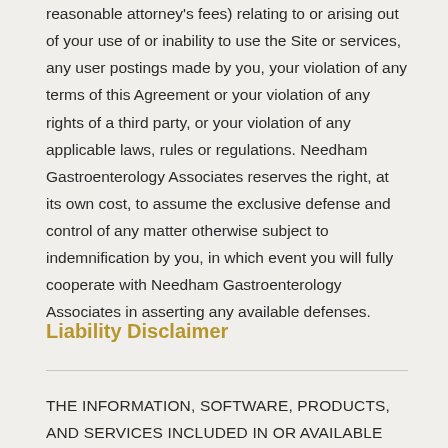reasonable attorney's fees) relating to or arising out of your use of or inability to use the Site or services, any user postings made by you, your violation of any terms of this Agreement or your violation of any rights of a third party, or your violation of any applicable laws, rules or regulations. Needham Gastroenterology Associates reserves the right, at its own cost, to assume the exclusive defense and control of any matter otherwise subject to indemnification by you, in which event you will fully cooperate with Needham Gastroenterology Associates in asserting any available defenses.
Liability Disclaimer
THE INFORMATION, SOFTWARE, PRODUCTS, AND SERVICES INCLUDED IN OR AVAILABLE THROUGH